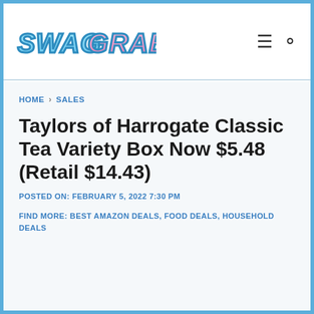SWAG GRABBER
HOME › SALES
Taylors of Harrogate Classic Tea Variety Box Now $5.48 (Retail $14.43)
POSTED ON: FEBRUARY 5, 2022 7:30 PM
FIND MORE: BEST AMAZON DEALS, FOOD DEALS, HOUSEHOLD DEALS